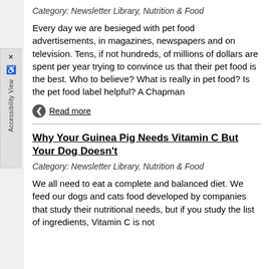Category: Newsletter Library, Nutrition & Food
Every day we are besieged with pet food advertisements, in magazines, newspapers and on television. Tens, if not hundreds, of millions of dollars are spent per year trying to convince us that their pet food is the best. Who to believe? What is really in pet food? Is the pet food label helpful? A Chapman
Read more
Why Your Guinea Pig Needs Vitamin C But Your Dog Doesn't
Category: Newsletter Library, Nutrition & Food
We all need to eat a complete and balanced diet. We feed our dogs and cats food developed by companies that study their nutritional needs, but if you study the list of ingredients, Vitamin C is not listed. When